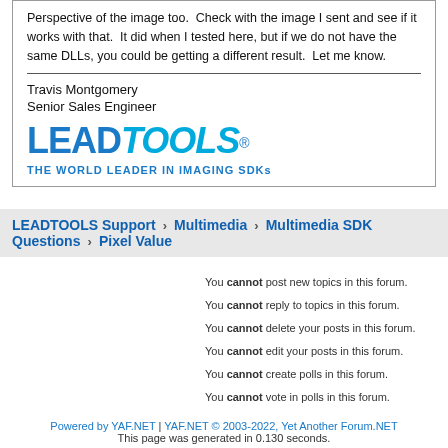Perspective of the image too.  Check with the image I sent and see if it works with that.  It did when I tested here, but if we do not have the same DLLs, you could be getting a different result.  Let me know.
Travis Montgomery
Senior Sales Engineer
[Figure (logo): LEADTOOLS logo with tagline THE WORLD LEADER IN IMAGING SDKs]
LEADTOOLS Support > Multimedia > Multimedia SDK Questions > Pixel Value
You cannot post new topics in this forum.
You cannot reply to topics in this forum.
You cannot delete your posts in this forum.
You cannot edit your posts in this forum.
You cannot create polls in this forum.
You cannot vote in polls in this forum.
Powered by YAF.NET | YAF.NET © 2003-2022, Yet Another Forum.NET
This page was generated in 0.130 seconds.